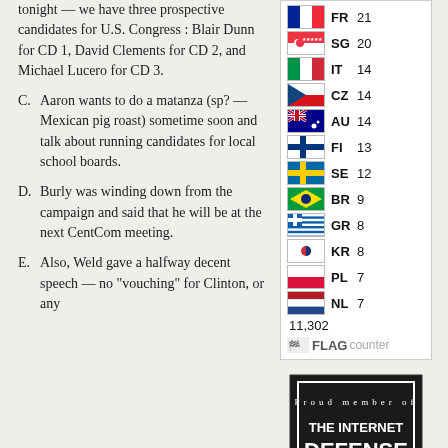tonight — we have three prospective candidates for U.S. Congress : Blair Dunn for CD 1, David Clements for CD 2, and Michael Lucero for CD 3.
C. Aaron wants to do a matanza (sp? — Mexican pig roast) sometime soon and talk about running candidates for local school boards.
D. Burly was winding down from the campaign and said that he will be at the next CentCom meeting.
E. Also, Weld gave a halfway decent speech — no "vouching" for Clinton, or any
[Figure (infographic): Flag Counter widget showing country flags with codes and visitor counts: SG 20, IT 14, CZ 14, AU 14, FI 13, SE 12, BR 9, GR 8, KR 8, PL 7, NL 7. Total: 11,302. FLAG counter logo at bottom.]
[Figure (logo): Internet Defense League badge - black shield with text 'Proud member of THE INTERNET DEFENSE LEAGUE']